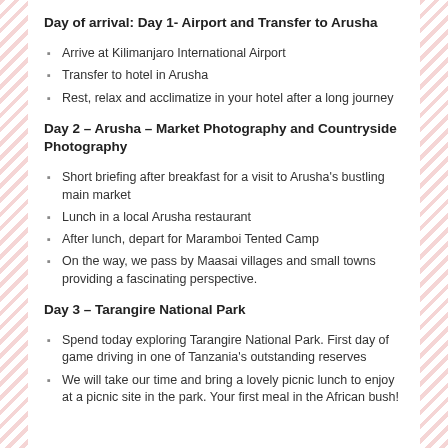Day of arrival: Day 1- Airport and Transfer to Arusha
Arrive at Kilimanjaro International Airport
Transfer to hotel in Arusha
Rest, relax and acclimatize in your hotel after a long journey
Day 2 – Arusha – Market Photography and Countryside Photography
Short briefing after breakfast for a visit to Arusha's bustling main market
Lunch in a local Arusha restaurant
After lunch, depart for Maramboi Tented Camp
On the way, we pass by Maasai villages and small towns providing a fascinating perspective.
Day 3 – Tarangire National Park
Spend today exploring Tarangire National Park. First day of game driving in one of Tanzania's outstanding reserves
We will take our time and bring a lovely picnic lunch to enjoy at a picnic site in the park. Your first meal in the African bush!